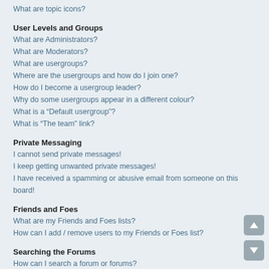What are topic icons?
User Levels and Groups
What are Administrators?
What are Moderators?
What are usergroups?
Where are the usergroups and how do I join one?
How do I become a usergroup leader?
Why do some usergroups appear in a different colour?
What is a “Default usergroup”?
What is “The team” link?
Private Messaging
I cannot send private messages!
I keep getting unwanted private messages!
I have received a spamming or abusive email from someone on this board!
Friends and Foes
What are my Friends and Foes lists?
How can I add / remove users to my Friends or Foes list?
Searching the Forums
How can I search a forum or forums?
Why does my search return no results?
Why does my search return a blank page!?
How do I search for members?
How can I find my own posts and topics?